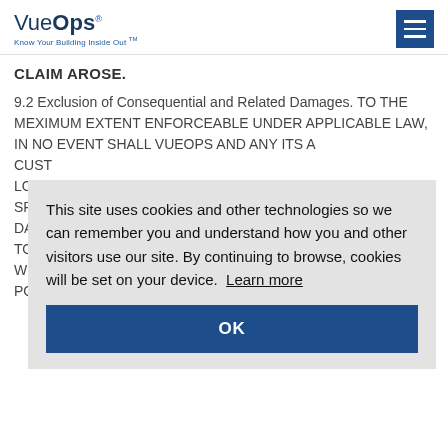VueOps — Know Your Building Inside Out™
CLAIM AROSE.
9.2 Exclusion of Consequential and Related Damages. TO THE MEXIMUM EXTENT ENFORCEABLE UNDER APPLICABLE LAW, IN NO EVENT SHALL VUEOPS AND ANY ITS A CUST LOST SPEC DAM TORT WHE POS
[Figure (screenshot): Cookie consent overlay popup with text: 'This site uses cookies and other technologies so we can remember you and understand how you and other visitors use our site. By continuing to browse, cookies will be set on your device. Learn more' and an OK button.]
10. T
10.1 Submitting Terms. Subject to the provisions of